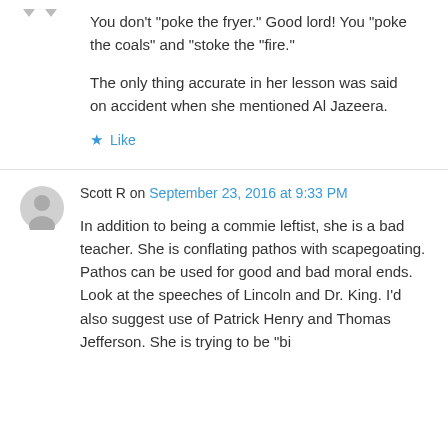You don't “poke the fryer.” Good lord! You “poke the coals” and “stoke the “fire.”
The only thing accurate in her lesson was said on accident when she mentioned Al Jazeera.
★ Like
Scott R on September 23, 2016 at 9:33 PM
In addition to being a commie leftist, she is a bad teacher. She is conflating pathos with scapegoating. Pathos can be used for good and bad moral ends. Look at the speeches of Lincoln and Dr. King. I’d also suggest use of Patrick Henry and Thomas Jefferson. She is trying to be “big” but it’s a failure. North Carolina...and...